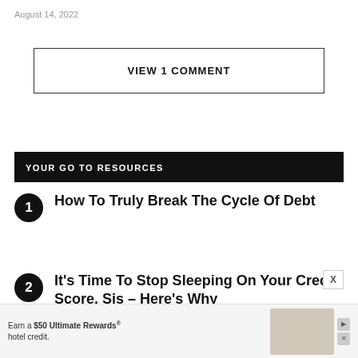August 14, 2022
VIEW 1 COMMENT
YOUR GO TO RESOURCES
How To Truly Break The Cycle Of Debt
It’s Time To Stop Sleeping On Your Credit Score, Sis – Here’s Why
[Figure (other): Advertisement banner: Earn a $50 Ultimate Rewards hotel credit, with image of hotel room decor]